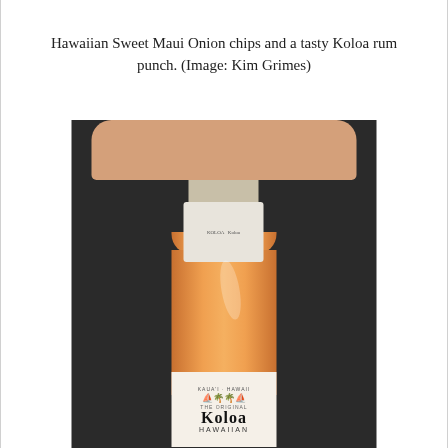Hawaiian Sweet Maui Onion chips and a tasty Koloa rum punch. (Image: Kim Grimes)
[Figure (photo): A hand pressing down on the top of a bottle of Koloa Hawaiian rum. The bottle has an orange/amber colored liquid inside. The lower label shows 'THE ORIGINAL KOLOA HAWAIIAN' branding with a plantation scene. The background is dark/black fabric.]